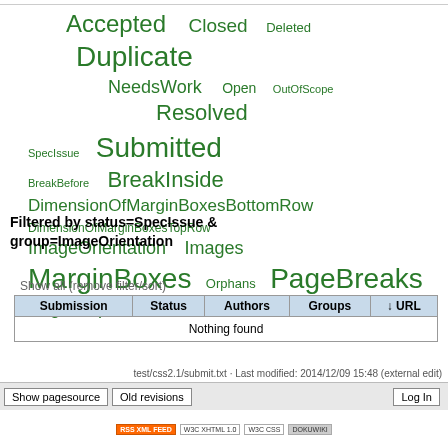[Figure (infographic): Tag cloud with green words of varying sizes: Accepted (large), Closed (medium), Deleted (small), Duplicate (extra-large), NeedsWork (medium), Open (small), OutOfScope (small), Resolved (large), SpecIssue (small), Submitted (extra-large), BreakBefore (small), BreakInside (large), DimensionOfMarginBoxesBottomRow (medium), DimensionOfMarginBoxesTopRow (small), ImageOrientation (medium), Images (medium), MarginBoxes (extra-large), Orphans (small), PageBreaks (extra-large), PageProperties (medium), PageSize (medium), Widows (medium)]
Filtered by status=SpecIssue & group=ImageOrientation
Show all (remove filter/sort)
| Submission | Status | Authors | Groups | ↓ URL |
| --- | --- | --- | --- | --- |
| Nothing found |  |  |  |  |
test/css2.1/submit.txt · Last modified: 2014/12/09 15:48 (external edit)
Show pagesource   Old revisions   Log In